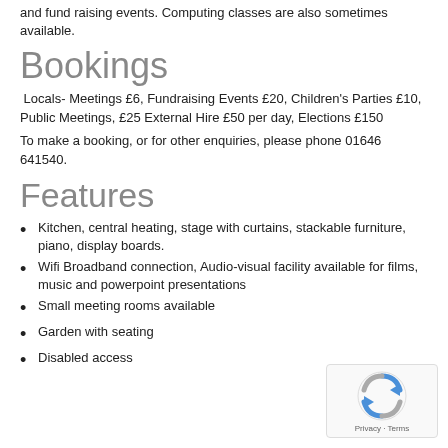and fund raising events. Computing classes are also sometimes available.
Bookings
Locals- Meetings £6, Fundraising Events £20, Children's Parties £10, Public Meetings, £25 External Hire £50 per day, Elections £150
To make a booking, or for other enquiries, please phone 01646 641540.
Features
Kitchen, central heating, stage with curtains, stackable furniture, piano, display boards.
Wifi Broadband connection, Audio-visual facility available for films, music and powerpoint presentations
Small meeting rooms available
Garden with seating
Disabled access